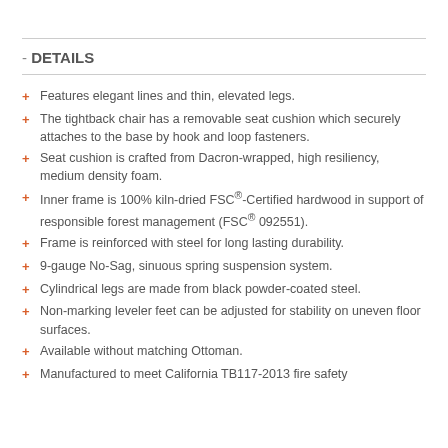- DETAILS
Features elegant lines and thin, elevated legs.
The tightback chair has a removable seat cushion which securely attaches to the base by hook and loop fasteners.
Seat cushion is crafted from Dacron-wrapped, high resiliency, medium density foam.
Inner frame is 100% kiln-dried FSC®-Certified hardwood in support of responsible forest management (FSC® 092551).
Frame is reinforced with steel for long lasting durability.
9-gauge No-Sag, sinuous spring suspension system.
Cylindrical legs are made from black powder-coated steel.
Non-marking leveler feet can be adjusted for stability on uneven floor surfaces.
Available without matching Ottoman.
Manufactured to meet California TB117-2013 fire safety